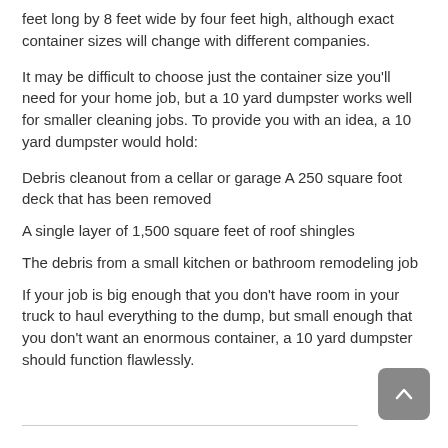feet long by 8 feet wide by four feet high, although exact container sizes will change with different companies.
It may be difficult to choose just the container size you'll need for your home job, but a 10 yard dumpster works well for smaller cleaning jobs. To provide you with an idea, a 10 yard dumpster would hold:
Debris cleanout from a cellar or garage A 250 square foot deck that has been removed
A single layer of 1,500 square feet of roof shingles
The debris from a small kitchen or bathroom remodeling job
If your job is big enough that you don't have room in your truck to haul everything to the dump, but small enough that you don't want an enormous container, a 10 yard dumpster should function flawlessly.